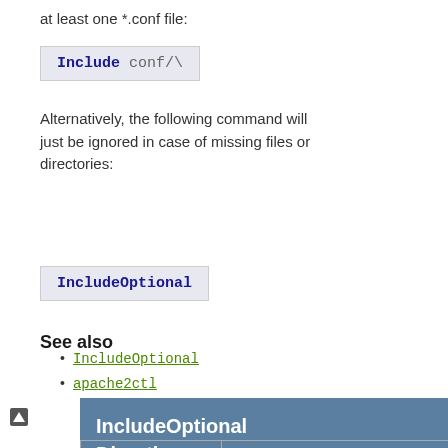at least one *.conf file:
[Figure (screenshot): Code block showing: Include conf/\]
Alternatively, the following command will just be ignored in case of missing files or directories:
[Figure (screenshot): Code block showing: IncludeOptional]
See also
IncludeOptional
apache2ctl
IncludeOptional Directive
| Description: |  |
| --- | --- |
| Description: | Includes other configuration files from within the server configuration files |